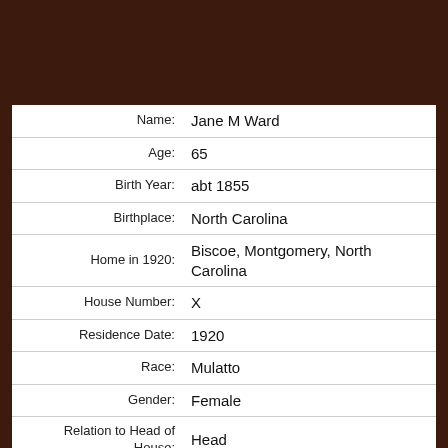| Field | Value |
| --- | --- |
| Name: | Jane M Ward |
| Age: | 65 |
| Birth Year: | abt 1855 |
| Birthplace: | North Carolina |
| Home in 1920: | Biscoe, Montgomery, North Carolina |
| House Number: | X |
| Residence Date: | 1920 |
| Race: | Mulatto |
| Gender: | Female |
| Relation to Head of House: | Head |
| Marital status: | Single |